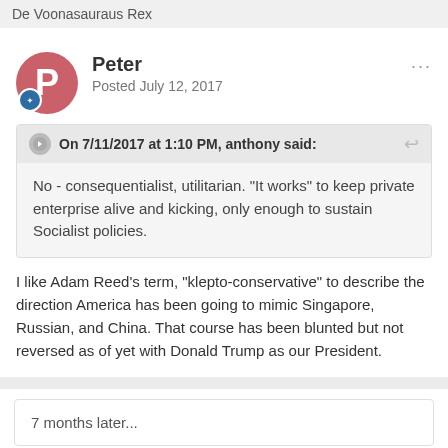De Voonasauraus Rex
Peter
Posted July 12, 2017
On 7/11/2017 at 1:10 PM, anthony said:
No - consequentialist, utilitarian. "It works" to keep private enterprise alive and kicking, only enough to sustain Socialist policies.
I like Adam Reed’s term, “klepto-conservative” to describe the direction America has been going to mimic Singapore, Russian, and China. That course has been blunted but not reversed as of yet with Donald Trump as our President.
7 months later...